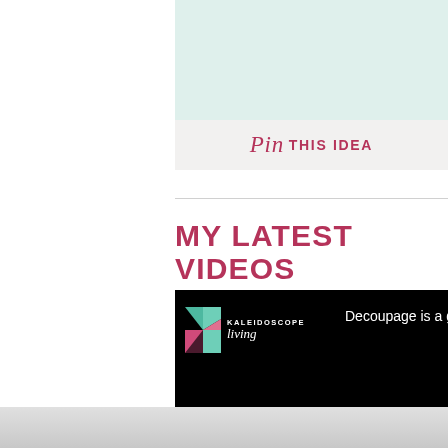Pin THIS IDEA
MY LATEST VIDEOS
[Figure (screenshot): Video player with black background showing Kaleidoscope Living logo on the left and partial text 'Decoupage is a great w' on the right]